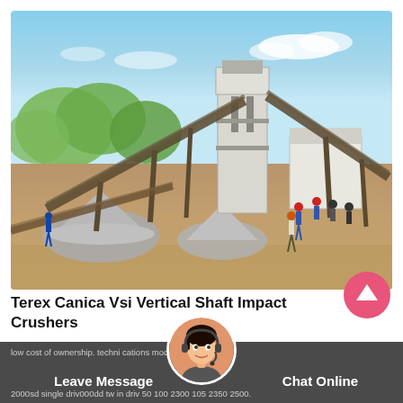[Figure (photo): Outdoor industrial mining/crushing plant with conveyor belts, large machinery structures, workers in safety gear, gravel piles, trees in background under blue sky]
Terex Canica Vsi Vertical Shaft Impact Crushers
Vsi crushers. contact our sales department for details. high output. low cost of ownership. techni cations model 1200 1400 2000sd single driv000dd tw in driv 50 100 2300 105 2350 2500.
Leave Message   Chat Online